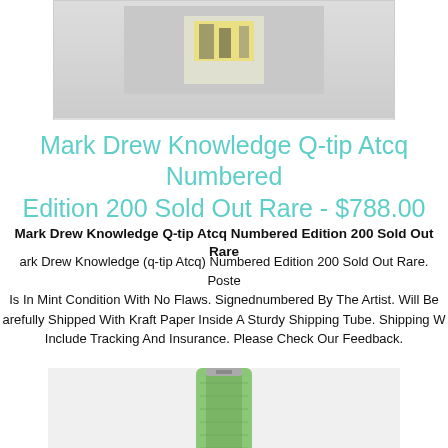[Figure (photo): Partial view of a poster/artwork with yellow and colored illustration, shown in a light gray display box at the top of the page.]
Mark Drew Knowledge Q-tip Atcq Numbered Edition 200 Sold Out Rare - $788.00
Mark Drew Knowledge Q-tip Atcq Numbered Edition 200 Sold Out Rare
Mark Drew Knowledge (q-tip Atcq) Numbered Edition 200 Sold Out Rare. Poster Is In Mint Condition With No Flaws. Signednumbered By The Artist. Will Be Carefully Shipped With Kraft Paper Inside A Sturdy Shipping Tube. Shipping Will Include Tracking And Insurance. Please Check Our Feedback.
[Figure (photo): Photo of a watch with a green/lime leather strap and a silver rectangular case with decorative crystal/diamond bezel, shown from the top angle.]